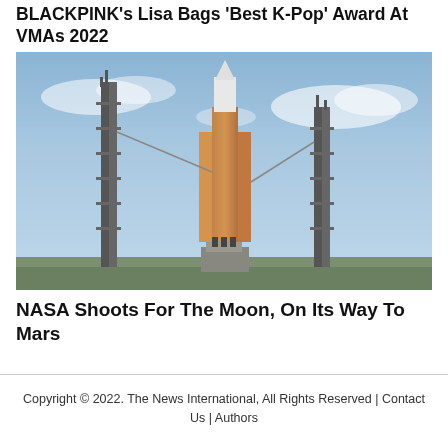BLACKPINK's Lisa Bags 'Best K-Pop' Award At VMAs 2022
[Figure (photo): A rocket (NASA SLS) on a launch pad between two tall metal gantry towers, against a cloudy blue sky. The rocket has an orange/brown core with white upper section.]
NASA Shoots For The Moon, On Its Way To Mars
Copyright © 2022. The News International, All Rights Reserved | Contact Us | Authors